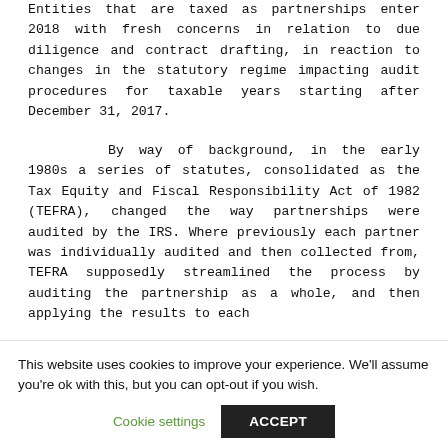Entities that are taxed as partnerships enter 2018 with fresh concerns in relation to due diligence and contract drafting, in reaction to changes in the statutory regime impacting audit procedures for taxable years starting after December 31, 2017.
By way of background, in the early 1980s a series of statutes, consolidated as the Tax Equity and Fiscal Responsibility Act of 1982 (TEFRA), changed the way partnerships were audited by the IRS. Where previously each partner was individually audited and then collected from, TEFRA supposedly streamlined the process by auditing the partnership as a whole, and then applying the results to each
This website uses cookies to improve your experience. We'll assume you're ok with this, but you can opt-out if you wish.
Cookie settings | ACCEPT